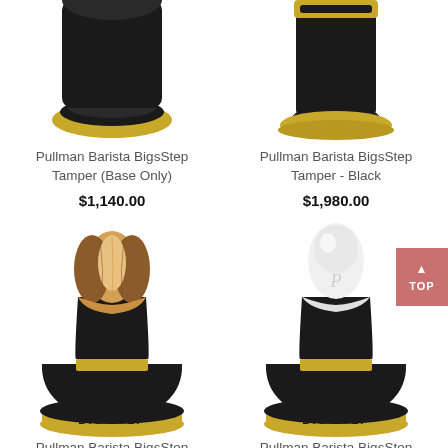[Figure (photo): Pullman Barista BigStep Tamper base only - top view showing gold rim, partially cropped at top]
Pullman Barista BigsStep Tamper (Base Only)
$1,140.00
[Figure (photo): Pullman Barista BigStep Tamper Black - top view showing gold and black tamper, partially cropped at top]
Pullman Barista BigsStep Tamper - Black
$1,980.00
[Figure (photo): Pullman Barista BigStep Tamper with wooden marquetry handle, full view with BIG STEP gold base]
Pullman Barista BigsStep
[Figure (photo): Pullman Barista BigStep Tamper with white ceramic handle, full view with BIG STEP gold base]
Pullman Barista BigsStep